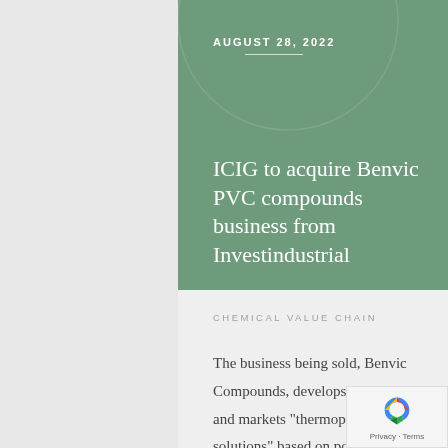[Figure (illustration): Green banner background with decorative white swirl/circle line patterns]
AUGUST 28, 2022
ICIG to acquire Benvic PVC compounds business from Investindustrial
CHEMICAL VALUE CHAIN
The business being sold, Benvic Compounds, develops, produces, and markets "thermoplastic solutions" based on polyvinyl chloride (PVC), as well as